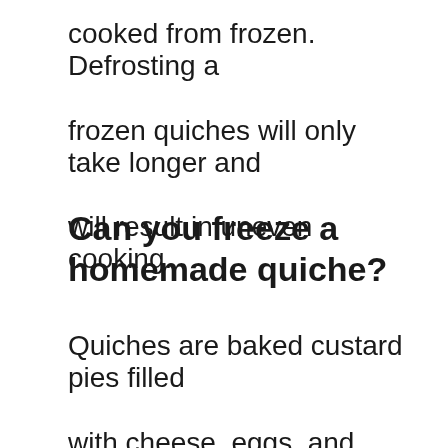cooked from frozen. Defrosting a frozen quiches will only take longer and will result in uneven cooking.
Can you freeze a homemade quiche?
Quiches are baked custard pies filled with cheese, eggs, and sometimes meat. Quiche recipes vary widely, but